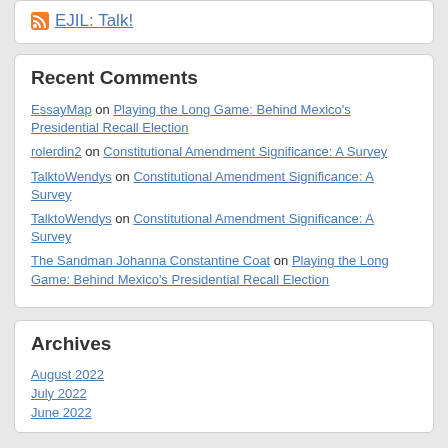EJIL: Talk!
Recent Comments
EssayMap on Playing the Long Game: Behind Mexico's Presidential Recall Election
rolerdin2 on Constitutional Amendment Significance: A Survey
TalktoWendys on Constitutional Amendment Significance: A Survey
TalktoWendys on Constitutional Amendment Significance: A Survey
The Sandman Johanna Constantine Coat on Playing the Long Game: Behind Mexico's Presidential Recall Election
Archives
August 2022
July 2022
June 2022